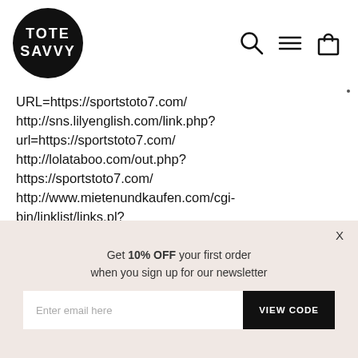TOTE SAVVY — logo with navigation icons (search, menu, cart)
URL=https://sportstoto7.com/ http://sns.lilyenglish.com/link.php?url=https://sportstoto7.com/ http://lolataboo.com/out.php?https://sportstoto7.com/ http://www.mietenundkaufen.com/cgi-bin/linklist/links.pl?action=redirect&id=44828&URL=https://sportsto... http://sp.ojrz.com/out.html?id=tometuma&go=https://sportstoto7.com/
Get 10% OFF your first order when you sign up for our newsletter
Enter email here VIEW CODE